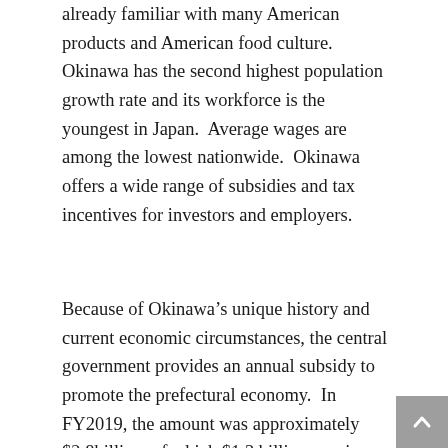already familiar with many American products and American food culture.  Okinawa has the second highest population growth rate and its workforce is the youngest in Japan.  Average wages are among the lowest nationwide.  Okinawa offers a wide range of subsidies and tax incentives for investors and employers.
Because of Okinawa's unique history and current economic circumstances, the central government provides an annual subsidy to promote the prefectural economy.  In FY2019, the amount was approximately $2.8billion, of which $1.3 billion was in public infrastructure projects, including port